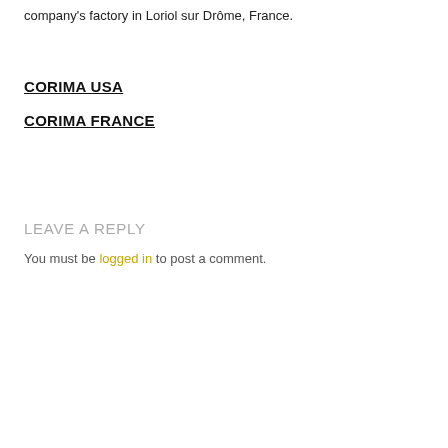company's factory in Loriol sur Drôme, France.
CORIMA USA
CORIMA FRANCE
LEAVE A REPLY
You must be logged in to post a comment.